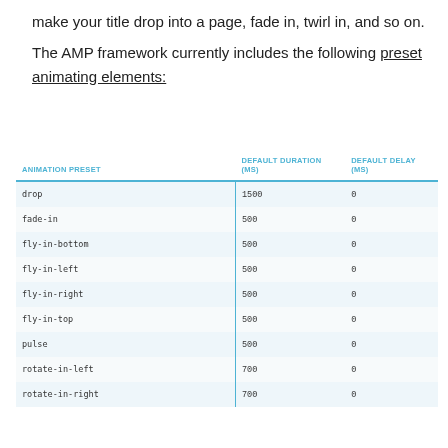make your title drop into a page, fade in, twirl in, and so on.
The AMP framework currently includes the following preset animating elements:
| ANIMATION PRESET | DEFAULT DURATION (MS) | DEFAULT DELAY (MS) |
| --- | --- | --- |
| drop | 1500 | 0 |
| fade-in | 500 | 0 |
| fly-in-bottom | 500 | 0 |
| fly-in-left | 500 | 0 |
| fly-in-right | 500 | 0 |
| fly-in-top | 500 | 0 |
| pulse | 500 | 0 |
| rotate-in-left | 700 | 0 |
| rotate-in-right | 700 | 0 |